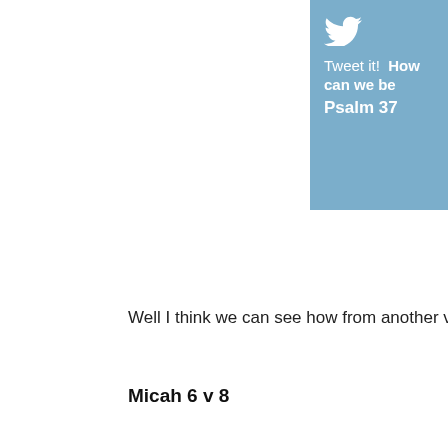[Figure (infographic): Twitter share banner with bird icon, 'Tweet it! How can we be' and 'Psalm 37' in white text on light blue background]
Well I think we can see how from another verse I learned a
Micah 6 v 8
[Figure (infographic): Pinterest share button - red bar with Pinterest P icon in white]
at is good: and wha... e mercy, and to wal...
[Figure (infographic): Facebook share button - dark blue bar with f icon in white]
alking in God's way.
[Figure (infographic): Twitter share button - light blue bar with bird icon in white]
[Figure (infographic): Green share button bar with circular arrow icon]
[Figure (photo): Partial photo of person in front of brick wall]